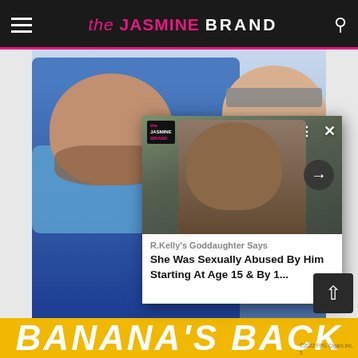the JASMINE BRAND
[Figure (photo): Photo of a man with beard wearing blue scarf/jacket selfie with a woman in sunglasses, outdoor winter setting. Overlaid popup card showing R. Kelly's photo with article headline.]
R.Kelly's Goddaughter Says She Was Sexually Abused By Him Starting At Age 15 & By 1...
[Figure (photo): Bottom banner showing yellow background with white bold italic text reading BANANA'S BACK with copyright notice ©2022 FPG Cigars Inc.]